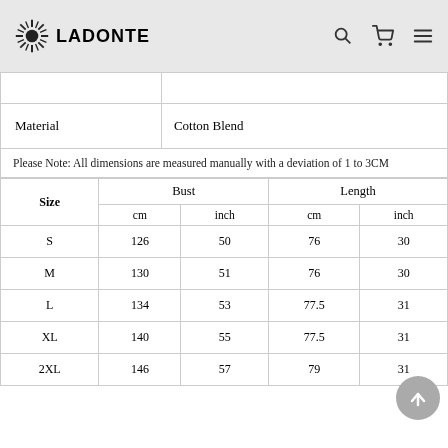LADONTE
| Material | Cotton Blend |
| --- | --- |
Please Note: All dimensions are measured manually with a deviation of 1 to 3CM
| Size | Bust cm | Bust inch | Length cm | Length inch |
| --- | --- | --- | --- | --- |
| S | 126 | 50 | 76 | 30 |
| M | 130 | 51 | 76 | 30 |
| L | 134 | 53 | 77.5 | 31 |
| XL | 140 | 55 | 77.5 | 31 |
| 2XL | 146 | 57 | 79 | 31 |